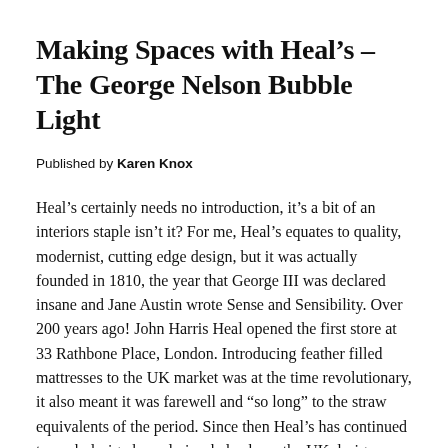Making Spaces with Heal’s – The George Nelson Bubble Light
Published by Karen Knox
Heal’s certainly needs no introduction, it’s a bit of an interiors staple isn’t it? For me, Heal’s equates to quality, modernist, cutting edge design, but it was actually founded in 1810, the year that George III was declared insane and Jane Austin wrote Sense and Sensibility. Over 200 years ago! John Harris Heal opened the first store at 33 Rathbone Place, London. Introducing feather filled mattresses to the UK market was at the time revolutionary, it also meant it was farewell and “so long” to the straw equivalents of the period. Since then Heal’s has continued to push design boundaries, help shape the UK design landscape, with John’s great great grandson, Ambrose